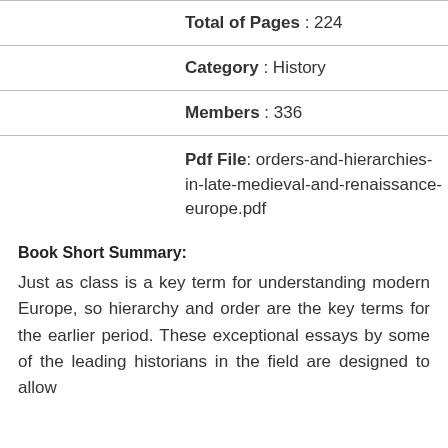Total of Pages : 224
Category : History
Members : 336
Pdf File: orders-and-hierarchies-in-late-medieval-and-renaissance-europe.pdf
Book Short Summary:
Just as class is a key term for understanding modern Europe, so hierarchy and order are the key terms for the earlier period. These exceptional essays by some of the leading historians in the field are designed to allow